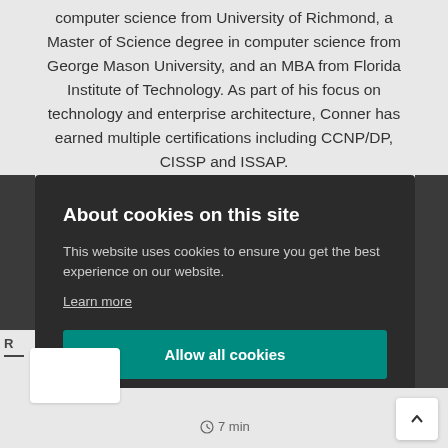computer science from University of Richmond, a Master of Science degree in computer science from George Mason University, and an MBA from Florida Institute of Technology. As part of his focus on technology and enterprise architecture, Conner has earned multiple certifications including CCNP/DP, CISSP and ISSAP.
About cookies on this site
This website uses cookies to ensure you get the best experience on our website.
Learn more
Allow all cookies
Cookie settings